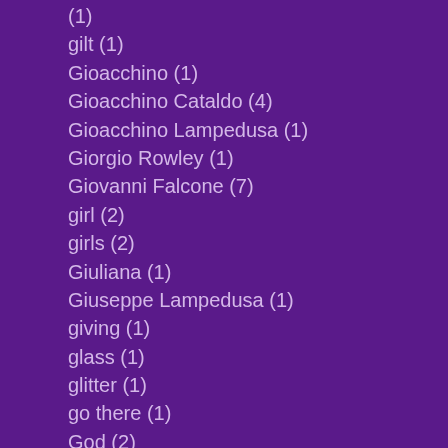(1)
gilt (1)
Gioacchino (1)
Gioacchino Cataldo (4)
Gioacchino Lampedusa (1)
Giorgio Rowley (1)
Giovanni Falcone (7)
girl (2)
girls (2)
Giuliana (1)
Giuseppe Lampedusa (1)
giving (1)
glass (1)
glitter (1)
go there (1)
God (2)
goddess (2)
gold (2)
gold dome (1)